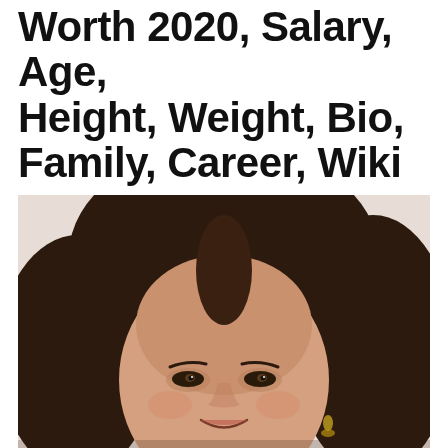Worth 2020, Salary, Age, Height, Weight, Bio, Family, Career, Wiki
by vidmast / September 8, 2021
[Figure (photo): Portrait photo of a woman with dark brown wavy hair, smiling, wearing an earring, light beige background]